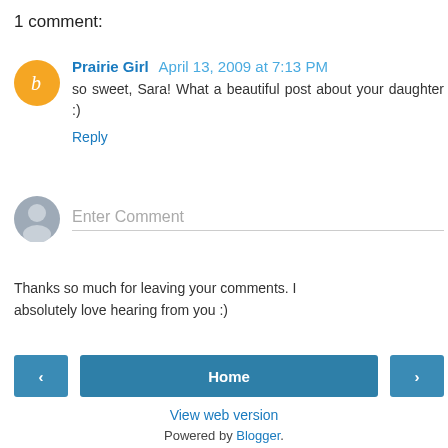1 comment:
Prairie Girl April 13, 2009 at 7:13 PM
so sweet, Sara! What a beautiful post about your daughter :)
Reply
Enter Comment
Thanks so much for leaving your comments. I absolutely love hearing from you :)
< Home >
View web version
Powered by Blogger.